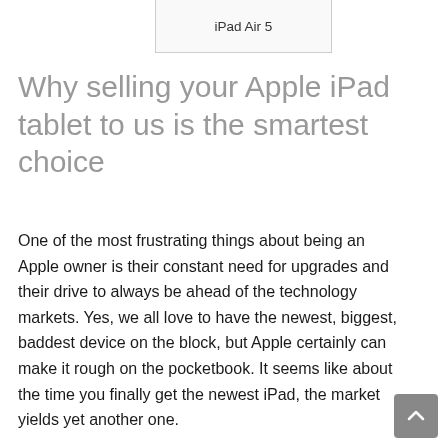[Figure (screenshot): Tablet model selector box showing 'iPad Air 5' label in a bordered container]
Why selling your Apple iPad tablet to us is the smartest choice
One of the most frustrating things about being an Apple owner is their constant need for upgrades and their drive to always be ahead of the technology markets. Yes, we all love to have the newest, biggest, baddest device on the block, but Apple certainly can make it rough on the pocketbook. It seems like about the time you finally get the newest iPad, the market yields yet another one.